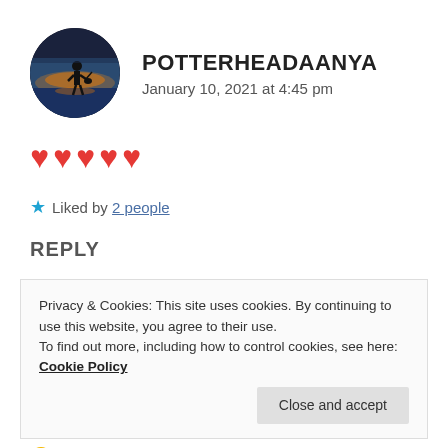[Figure (photo): Circular avatar photo of a silhouette figure with a guitar against a sunset sky background]
POTTERHEADAANYA
January 10, 2021 at 4:45 pm
❤❤❤❤❤
★ Liked by 2 people
REPLY
Privacy & Cookies: This site uses cookies. By continuing to use this website, you agree to their use.
To find out more, including how to control cookies, see here: Cookie Policy
Close and accept